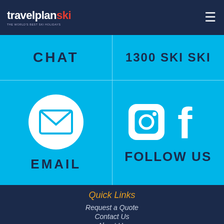travelplanski — THE WORLD'S BEST SKI HOLIDAYS
CHAT
1300 SKI SKI
[Figure (illustration): White email envelope icon inside a white circle on cyan background]
EMAIL
[Figure (illustration): White Instagram and Facebook icons on cyan background]
FOLLOW US
Quick Links
Request a Quote
Contact Us
About Us
Our Staff
Featured Deals